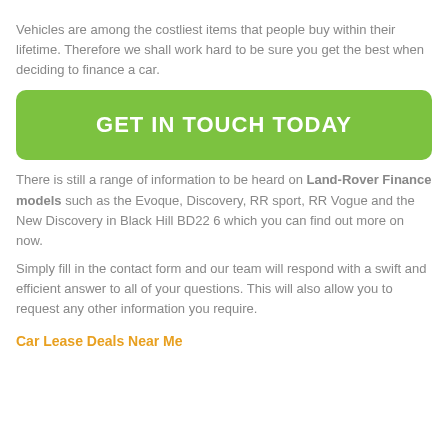Vehicles are among the costliest items that people buy within their lifetime. Therefore we shall work hard to be sure you get the best when deciding to finance a car.
GET IN TOUCH TODAY
There is still a range of information to be heard on Land-Rover Finance models such as the Evoque, Discovery, RR sport, RR Vogue and the New Discovery in Black Hill BD22 6 which you can find out more on now.
Simply fill in the contact form and our team will respond with a swift and efficient answer to all of your questions. This will also allow you to request any other information you require.
Car Lease Deals Near Me